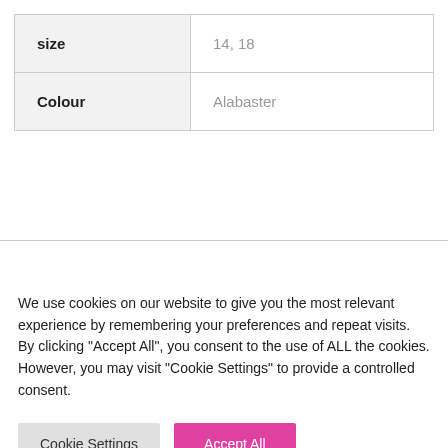| size | 14, 18 |
| Colour | Alabaster |
We use cookies on our website to give you the most relevant experience by remembering your preferences and repeat visits. By clicking "Accept All", you consent to the use of ALL the cookies. However, you may visit "Cookie Settings" to provide a controlled consent.